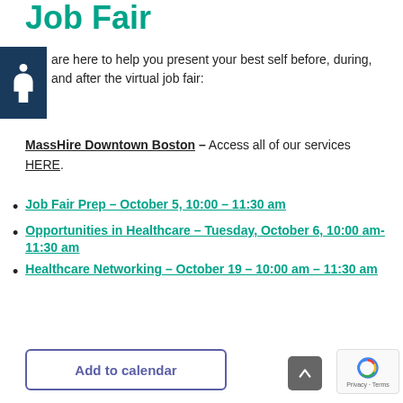Job Fair
are here to help you present your best self before, during, and after the virtual job fair:
MassHire Downtown Boston – Access all of our services HERE.
Job Fair Prep – October 5, 10:00 – 11:30 am
Opportunities in Healthcare – Tuesday, October 6, 10:00 am-11:30 am
Healthcare Networking – October 19 – 10:00 am – 11:30 am